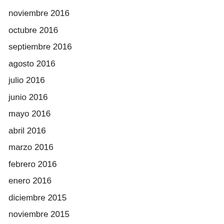noviembre 2016
octubre 2016
septiembre 2016
agosto 2016
julio 2016
junio 2016
mayo 2016
abril 2016
marzo 2016
febrero 2016
enero 2016
diciembre 2015
noviembre 2015